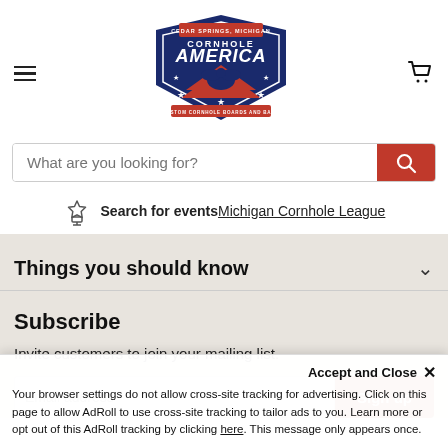[Figure (logo): Cornhole America logo — navy blue shield with eagle and stars, red/white banner reading CEDAR SPRINGS MICHIGAN, CORNHOLE AMERICA, CUSTOM CORNHOLE BOARDS AND BAGS]
What are you looking for?
Search for events Michigan Cornhole League
Things you should know
Subscribe
Invite customers to join your mailing list.
Accept and Close ✕
Your browser settings do not allow cross-site tracking for advertising. Click on this page to allow AdRoll to use cross-site tracking to tailor ads to you. Learn more or opt out of this AdRoll tracking by clicking here. This message only appears once.